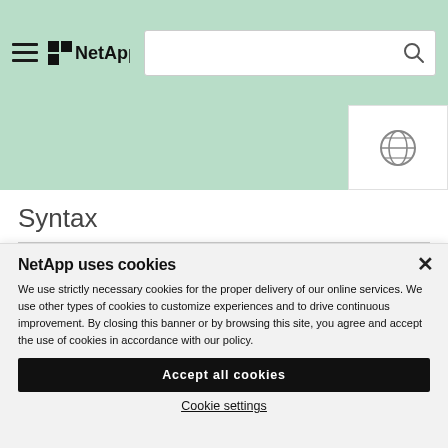NetApp
Syntax
NetApp uses cookies

We use strictly necessary cookies for the proper delivery of our online services. We use other types of cookies to customize experiences and to drive continuous improvement. By closing this banner or by browsing this site, you agree and accept the use of cookies in accordance with our policy.
Accept all cookies
Cookie settings